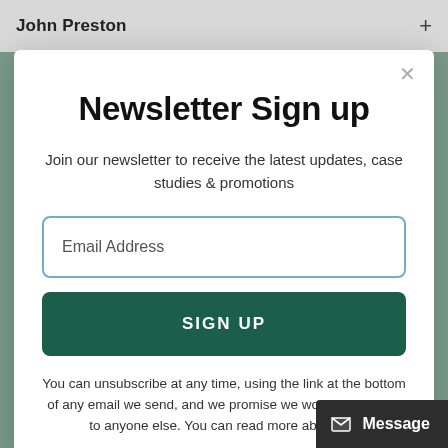John Preston
Newsletter Sign up
Join our newsletter to receive the latest updates, case studies & promotions
Email Address
SIGN UP
You can unsubscribe at any time, using the link at the bottom of any email we send, and we promise we wo... information to anyone else. You can read more about our